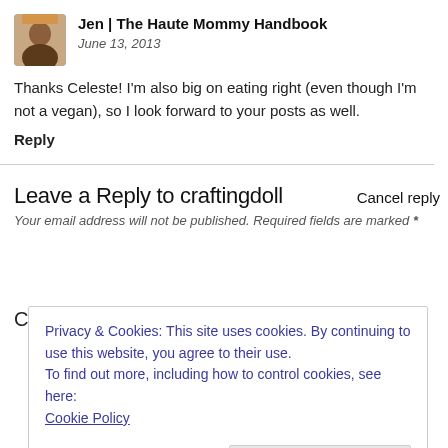[Figure (photo): Avatar photo of a woman]
Jen | The Haute Mommy Handbook
June 13, 2013
Thanks Celeste! I'm also big on eating right (even though I'm not a vegan), so I look forward to your posts as well.
Reply
Leave a Reply to craftingdoll
Cancel reply
Your email address will not be published. Required fields are marked *
Privacy & Cookies: This site uses cookies. By continuing to use this website, you agree to their use.
To find out more, including how to control cookies, see here: Cookie Policy
Close and accept